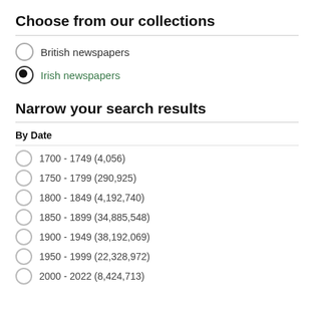Choose from our collections
British newspapers
Irish newspapers
Narrow your search results
By Date
1700 - 1749 (4,056)
1750 - 1799 (290,925)
1800 - 1849 (4,192,740)
1850 - 1899 (34,885,548)
1900 - 1949 (38,192,069)
1950 - 1999 (22,328,972)
2000 - 2022 (8,424,713)